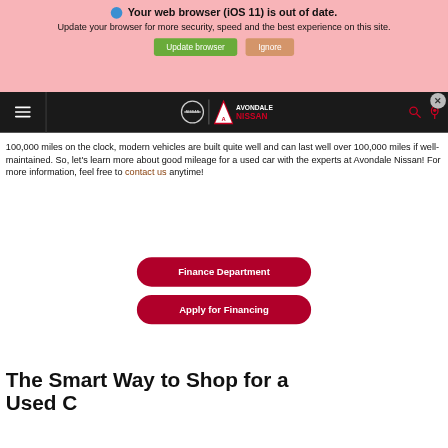[Figure (screenshot): Browser outdated warning banner with pink background, 'Your web browser (iOS 11) is out of date.' message, Update browser and Ignore buttons]
[Figure (screenshot): Avondale Nissan website navigation bar with hamburger menu, Nissan and Avondale Nissan logos, search and location icons on black background]
100,000 miles on the clock, modern vehicles are built quite well and can last well over 100,000 miles if well-maintained. So, let's learn more about good mileage for a used car with the experts at Avondale Nissan! For more information, feel free to contact us anytime!
Finance Department
Apply for Financing
The Smart Way to Shop for a Used Car